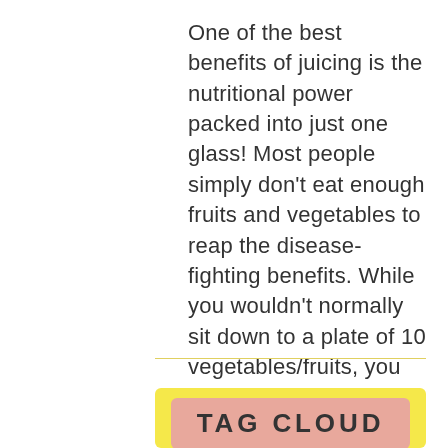One of the best benefits of juicing is the nutritional power packed into just one glass! Most people simply don't eat enough fruits and vegetables to reap the disease-fighting benefits. While you wouldn't normally sit down to a plate of 10 vegetables/fruits, you can make a smoothie or juice with the equivalent amount and drink to your health! It's important to know your juice and smoothie ingredients and which are best for you: Not Good: Supermarket juices/smoothies often con
TAG CLOUD